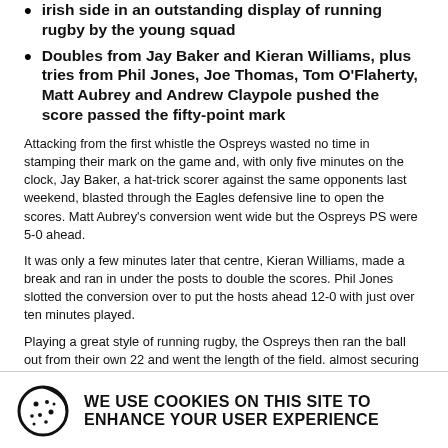irish side in an outstanding display of running rugby by the young squad
Doubles from Jay Baker and Kieran Williams, plus tries from Phil Jones, Joe Thomas, Tom O'Flaherty, Matt Aubrey and Andrew Claypole pushed the score passed the fifty-point mark
Attacking from the first whistle the Ospreys wasted no time in stamping their mark on the game and, with only five minutes on the clock, Jay Baker, a hat-trick scorer against the same opponents last weekend, blasted through the Eagles defensive line to open the scores. Matt Aubrey's conversion went wide but the Ospreys PS were 5-0 ahead.
It was only a few minutes later that centre, Kieran Williams, made a break and ran in under the posts to double the scores. Phil Jones slotted the conversion over to put the hosts ahead 12-0 with just over ten minutes played.
Playing a great style of running rugby, the Ospreys then ran the ball out from their own 22 and went the length of the field. almost securing a third try, but Luke Price was brought down before he could offload to his wing who would've been clear to score.
However, the third try wasn't long in coming. Securing a scrum on Connacht's try line and powering through the phases, quick play by Phil Jones saw the fullback going over the whitewash before converting his own try to extended
WE USE COOKIES ON THIS SITE TO ENHANCE YOUR USER EXPERIENCE